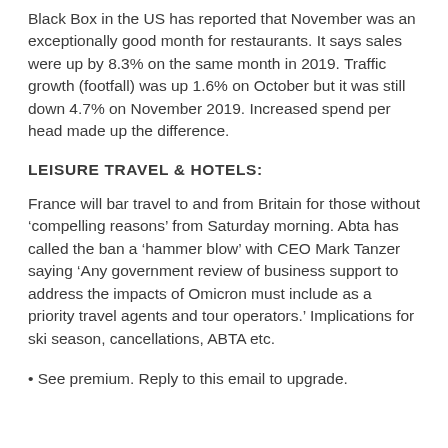Black Box in the US has reported that November was an exceptionally good month for restaurants. It says sales were up by 8.3% on the same month in 2019. Traffic growth (footfall) was up 1.6% on October but it was still down 4.7% on November 2019. Increased spend per head made up the difference.
LEISURE TRAVEL & HOTELS:
France will bar travel to and from Britain for those without ‘compelling reasons’ from Saturday morning. Abta has called the ban a ‘hammer blow’ with CEO Mark Tanzer saying ‘Any government review of business support to address the impacts of Omicron must include as a priority travel agents and tour operators.’ Implications for ski season, cancellations, ABTA etc.
• See premium. Reply to this email to upgrade.